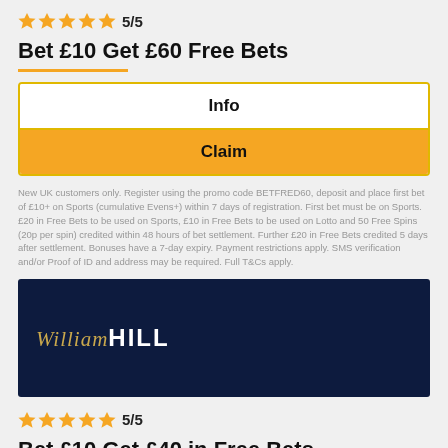[Figure (other): 5 gold stars rating]
5/5
Bet £10 Get £60 Free Bets
Info
Claim
New UK customers only. Register using the promo code BETFRED60, deposit and place first bet of £10+ on Sports (cumulative Evens+) within 7 days of registration. First bet must be on Sports. £20 in Free Bets to be used on Sports, £10 in Free Bets to be used on Lotto and 50 Free Spins (20p per spin) credited within 48 hours of bet settlement. Further £20 in Free Bets credited 5 days after settlement. Bonuses have a 7-day expiry. Payment restrictions apply. SMS verification and/or Proof of ID and address may be required. Full T&Cs apply.
[Figure (logo): William Hill logo on dark navy background]
[Figure (other): 5 gold stars rating]
5/5
Bet £10 Get £40 in Free Bets